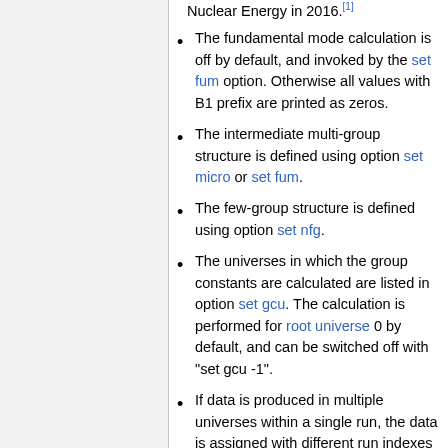Nuclear Energy in 2016.[1]
The fundamental mode calculation is off by default, and invoked by the set fum option. Otherwise all values with B1 prefix are printed as zeros.
The intermediate multi-group structure is defined using option set micro or set fum.
The few-group structure is defined using option set nfg.
The universes in which the group constants are calculated are listed in option set gcu. The calculation is performed for root universe 0 by default, and can be switched off with "set gcu -1".
If data is produced in multiple universes within a single run, the data is assigned with different run indexes (i,dx).